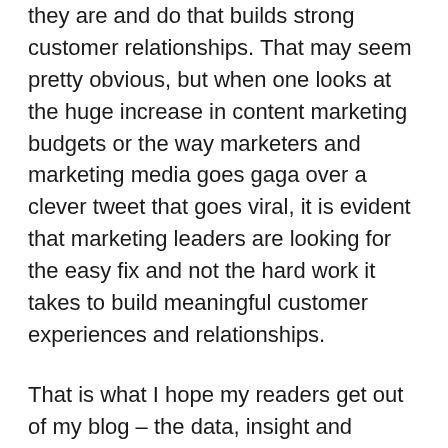they are and do that builds strong customer relationships. That may seem pretty obvious, but when one looks at the huge increase in content marketing budgets or the way marketers and marketing media goes gaga over a clever tweet that goes viral, it is evident that marketing leaders are looking for the easy fix and not the hard work it takes to build meaningful customer experiences and relationships.
That is what I hope my readers get out of my blog – the data, insight and examples that demonstrate brands are built with authentic customer-centric experiences and not witty content. (Yes, content can be part of great